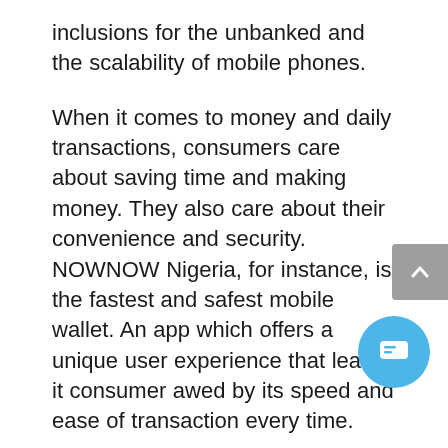inclusions for the unbanked and the scalability of mobile phones.
When it comes to money and daily transactions, consumers care about saving time and making money. They also care about their convenience and security. NOWNOW Nigeria, for instance, is the fastest and safest mobile wallet. An app which offers a unique user experience that leaves it consumer awed by its speed and ease of transaction every time.
One effective way fintech companies are helping in the creation of jobs is through their agent network. By using the mobile paym... apps and performing transactions on beha...of consumers, jobs are created with...